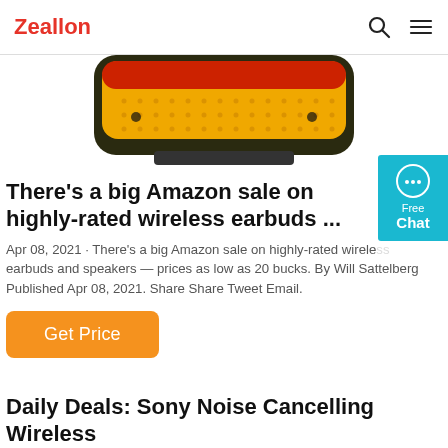Zeallon
[Figure (photo): Partial view of a wireless speaker with orange/yellow mesh grille and red accent, cropped at bottom of visible area.]
There's a big Amazon sale on highly-rated wireless earbuds ...
Apr 08, 2021 · There's a big Amazon sale on highly-rated wireless earbuds and speakers — prices as low as 20 bucks. By Will Sattelberg Published Apr 08, 2021. Share Share Tweet Email.
Get Price
Daily Deals: Sony Noise Cancelling Wireless